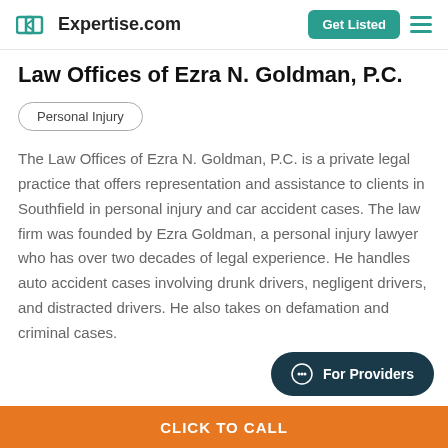Expertise.com
Law Offices of Ezra N. Goldman, P.C.
Personal Injury
The Law Offices of Ezra N. Goldman, P.C. is a private legal practice that offers representation and assistance to clients in Southfield in personal injury and car accident cases. The law firm was founded by Ezra Goldman, a personal injury lawyer who has over two decades of legal experience. He handles auto accident cases involving drunk drivers, negligent drivers, and distracted drivers. He also takes on defamation and criminal cases.
For Providers